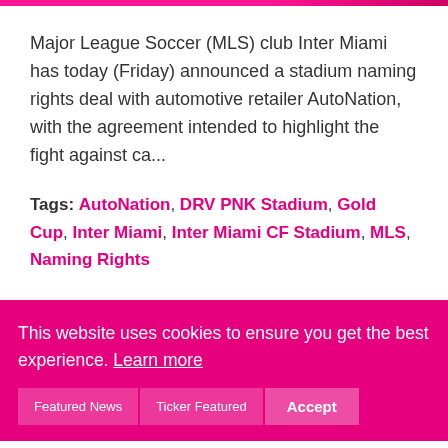Major League Soccer (MLS) club Inter Miami has today (Friday) announced a stadium naming rights deal with automotive retailer AutoNation, with the agreement intended to highlight the fight against ca...
Tags: AutoNation, DRV PNK Stadium, Gold Cup, Inter Miami, Inter Miami CF Stadium, MLS, Naming Rights
[Figure (screenshot): Social media share icons (Facebook, Twitter, Google+, LinkedIn) on a dark pink bar, with a READ button on the right]
This website uses cookies to ensure you get the best experience. Learn more
Featured News | Ticker Featured | Accept